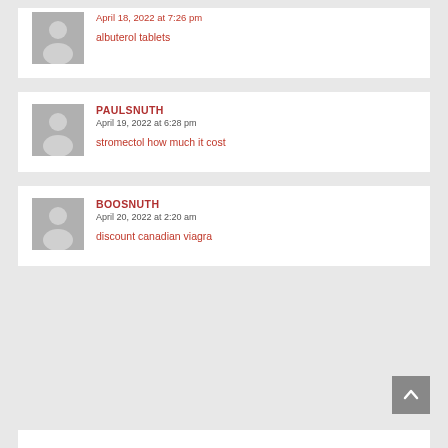April 18, 2022 at 7:26 pm
albuterol tablets
PAULSNUTH
April 19, 2022 at 6:28 pm
stromectol how much it cost
BOOSNUTH
April 20, 2022 at 2:20 am
discount canadian viagra